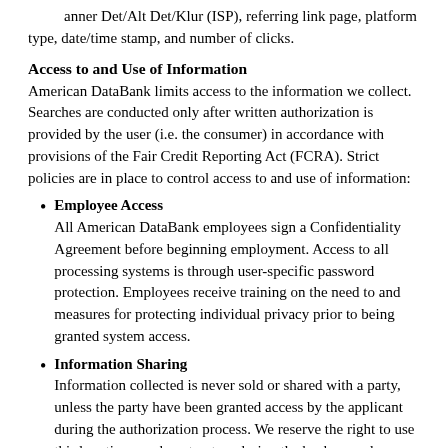anner Det/Alt Det/Klur (ISP), referring link page, platform type, date/time stamp, and number of clicks.
Access to and Use of Information
American DataBank limits access to the information we collect. Searches are conducted only after written authorization is provided by the user (i.e. the consumer) in accordance with provisions of the Fair Credit Reporting Act (FCRA). Strict policies are in place to control access to and use of information:
Employee Access
All American DataBank employees sign a Confidentiality Agreement before beginning employment. Access to all processing systems is through user-specific password protection. Employees receive training on the need to and measures for protecting individual privacy prior to being granted system access.
Information Sharing
Information collected is never sold or shared with a party, unless the party have been granted access by the applicant during the authorization process. We reserve the right to use third parties or subcontractors during the background screening process. Disclosure of personally identifiable information (PII) during the course of research is limited except as required or permitted by law to fulfill the requested